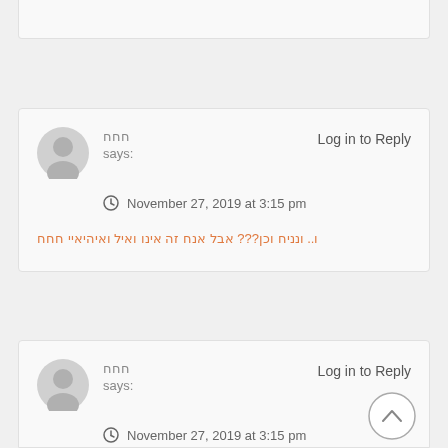חחח says: November 27, 2019 at 3:15 pm ו.. ונניח וכן??? אבל אנח זה אינו ואיל ואיהיאיי חחח
חחח says: November 27, 2019 at 3:15 pm